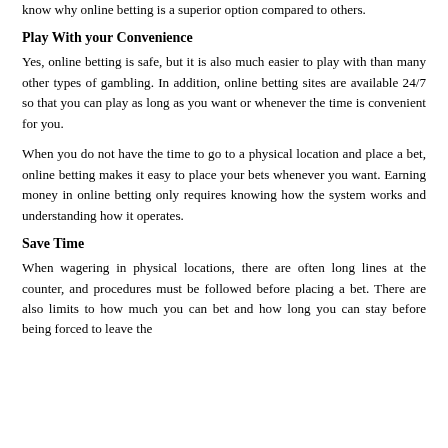know why online betting is a superior option compared to others.
Play With your Convenience
Yes, online betting is safe, but it is also much easier to play with than many other types of gambling. In addition, online betting sites are available 24/7 so that you can play as long as you want or whenever the time is convenient for you.
When you do not have the time to go to a physical location and place a bet, online betting makes it easy to place your bets whenever you want. Earning money in online betting only requires knowing how the system works and understanding how it operates.
Save Time
When wagering in physical locations, there are often long lines at the counter, and procedures must be followed before placing a bet. There are also limits to how much you can bet and how long you can stay before being forced to leave the